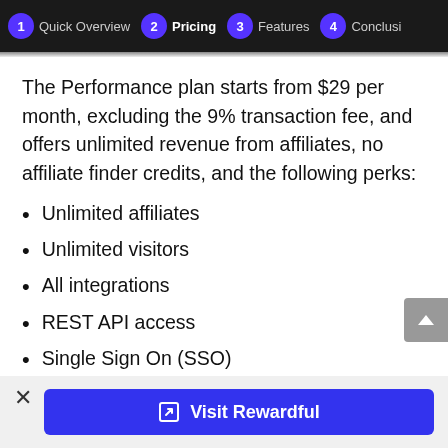1 Quick Overview  2 Pricing  3 Features  4 Conclusi
The Performance plan starts from $29 per month, excluding the 9% transaction fee, and offers unlimited revenue from affiliates, no affiliate finder credits, and the following perks:
Unlimited affiliates
Unlimited visitors
All integrations
REST API access
Single Sign On (SSO)
Visit Rewardful